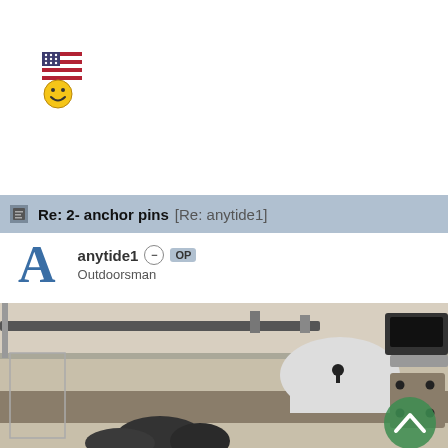[Figure (illustration): Pixel art emoji with American flag and smiley face]
Re: 2- anchor pins [Re: anytide1]
anytide1 OP
Outdoorsman
[Figure (photo): Close-up photograph of mechanical equipment with metal arms/rods with anchor pin connections, shot in a workshop/garage setting. A green upward chevron scroll button is visible in the bottom right.]